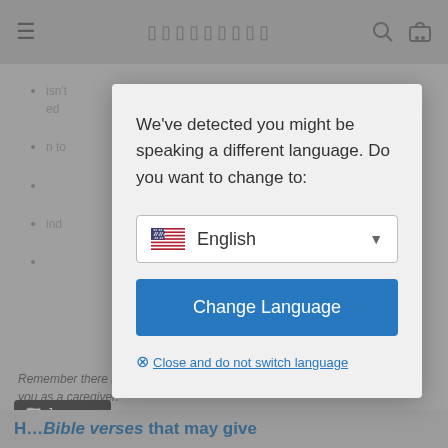[Figure (screenshot): Website page background showing navigation bar with hamburger menu, search icon, cart icon, bullet-point list items, italic text 'Remember there is hope for your loved one and for you as a caregiver.', a Japanese language badge, and partial bottom heading.]
We've detected you might be speaking a different language. Do you want to change to:
English
Change Language
Close and do not switch language